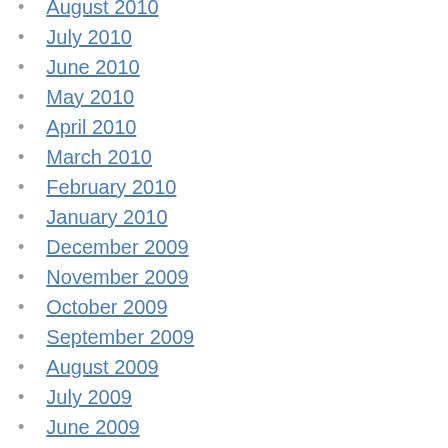August 2010
July 2010
June 2010
May 2010
April 2010
March 2010
February 2010
January 2010
December 2009
November 2009
October 2009
September 2009
August 2009
July 2009
June 2009
May 2009
April 2009